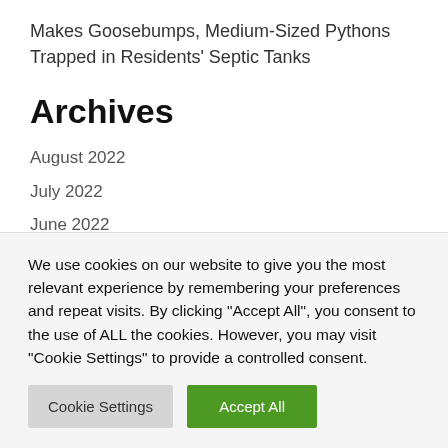Makes Goosebumps, Medium-Sized Pythons Trapped in Residents' Septic Tanks
Archives
August 2022
July 2022
June 2022
RANDOMIZE
We use cookies on our website to give you the most relevant experience by remembering your preferences and repeat visits. By clicking "Accept All", you consent to the use of ALL the cookies. However, you may visit "Cookie Settings" to provide a controlled consent.